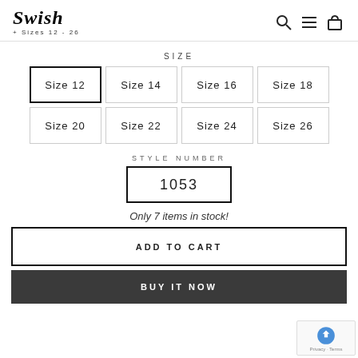Swish + Sizes 12 - 26
SIZE
Size 12 (selected), Size 14, Size 16, Size 18
Size 20, Size 22, Size 24, Size 26
STYLE NUMBER
1053
Only 7 items in stock!
ADD TO CART
BUY IT NOW